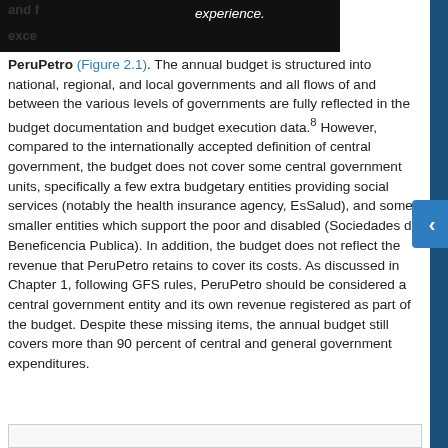PeruPetro (Figure 2.1). The annual budget is structured into national, regional, and local governments and all flows of and between the various levels of governments are fully reflected in the budget documentation and budget execution data.8 However, compared to the internationally accepted definition of central government, the budget does not cover some central government units, specifically a few extra budgetary entities providing social services (notably the health insurance agency, EsSalud), and some smaller entities which support the poor and disabled (Sociedades de Beneficencia Publica). In addition, the budget does not reflect the revenue that PeruPetro retains to cover its costs. As discussed in Chapter 1, following GFS rules, PeruPetro should be considered a central government entity and its own revenue registered as part of the budget. Despite these missing items, the annual budget still covers more than 90 percent of central and general government expenditures.